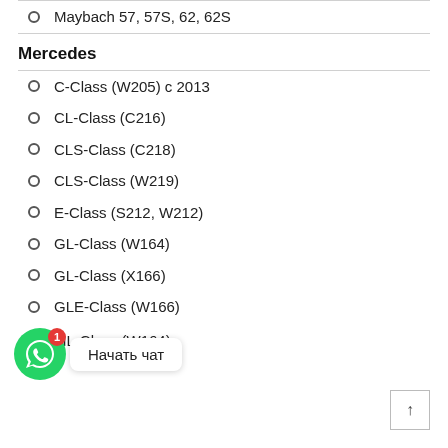Maybach 57, 57S, 62, 62S
Mercedes
C-Class (W205) с 2013
CL-Class (C216)
CLS-Class (C218)
CLS-Class (W219)
E-Class (S212, W212)
GL-Class (W164)
GL-Class (X166)
GLE-Class (W166)
ML-Class (W164)